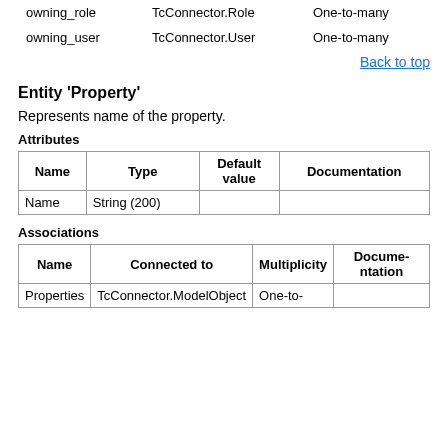| owning_role | TcConnector.Role | One-to-many |
| owning_user | TcConnector.User | One-to-many |
Back to top
Entity 'Property'
Represents name of the property.
Attributes
| Name | Type | Default value | Documentation |
| --- | --- | --- | --- |
| Name | String (200) |  |  |
Associations
| Name | Connected to | Multiplicity | Documentation |
| --- | --- | --- | --- |
| Properties | TcConnector.ModelObject | One-to- |  |